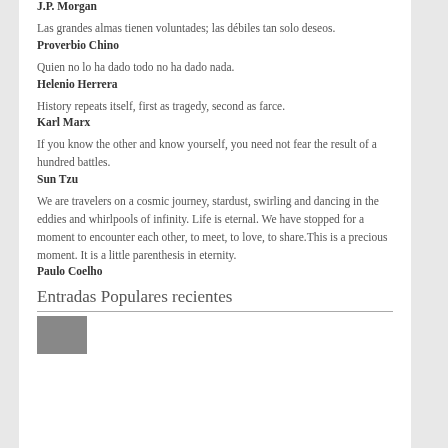J.P. Morgan
Las grandes almas tienen voluntades; las débiles tan solo deseos.
Proverbio Chino
Quien no lo ha dado todo no ha dado nada.
Helenio Herrera
History repeats itself, first as tragedy, second as farce.
Karl Marx
If you know the other and know yourself, you need not fear the result of a hundred battles.
Sun Tzu
We are travelers on a cosmic journey, stardust, swirling and dancing in the eddies and whirlpools of infinity. Life is eternal. We have stopped for a moment to encounter each other, to meet, to love, to share.This is a precious moment. It is a little parenthesis in eternity.
Paulo Coelho
Entradas Populares recientes